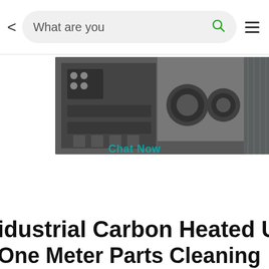[Figure (screenshot): Mobile browser navigation bar with back arrow, search box showing 'What are you' placeholder text with green search icon, and hamburger menu icon]
[Figure (photo): Three photographs showing industrial ultrasonic cleaning equipment with engine parts, cylinder heads, and connecting rods being cleaned]
Chat Now
Industrial Carbon Heated Ultrasom
One Meter Parts Cleaning